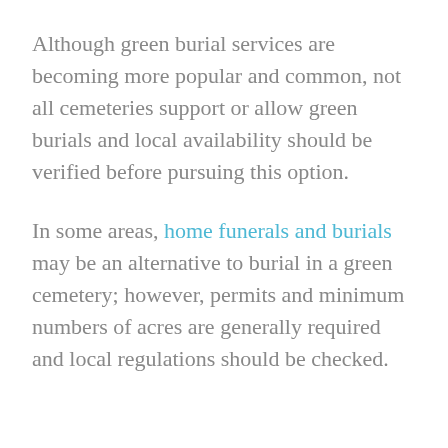Although green burial services are becoming more popular and common, not all cemeteries support or allow green burials and local availability should be verified before pursuing this option.
In some areas, home funerals and burials may be an alternative to burial in a green cemetery; however, permits and minimum numbers of acres are generally required and local regulations should be checked.